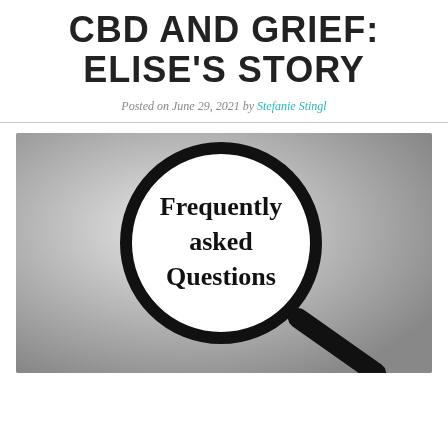CBD AND GRIEF: ELISE'S STORY
Posted on June 29, 2021 by Stefanie Stingl
[Figure (photo): A magnifying glass enlarging the text 'Frequently asked Questions' on a white paper, set against a gray background.]